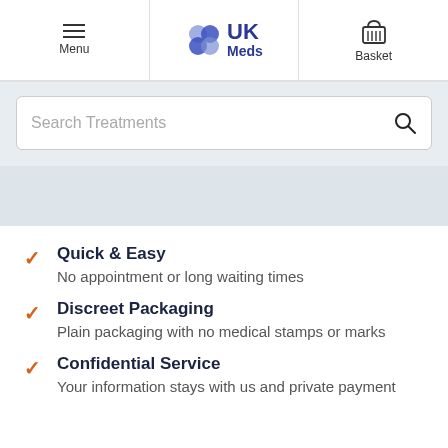[Figure (logo): UK Meds logo with navigation header showing Menu, UK Meds logo, and Basket icons]
Search Treatments
Quick & Easy
No appointment or long waiting times
Discreet Packaging
Plain packaging with no medical stamps or marks
Confidential Service
Your information stays with us and private payment